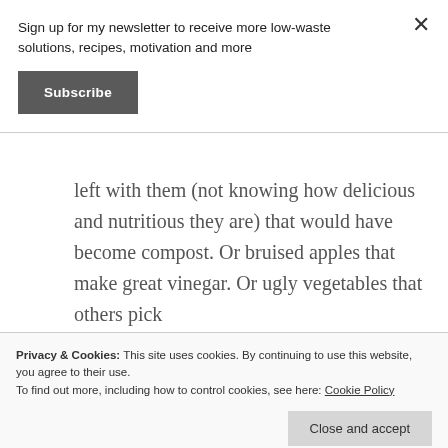Sign up for my newsletter to receive more low-waste solutions, recipes, motivation and more
Subscribe
left with them (not knowing how delicious and nutritious they are) that would have become compost. Or bruised apples that make great vinegar. Or ugly vegetables that others pick
Privacy & Cookies: This site uses cookies. By continuing to use this website, you agree to their use.
To find out more, including how to control cookies, see here: Cookie Policy
Close and accept
3. You didn't mention vacations, but my